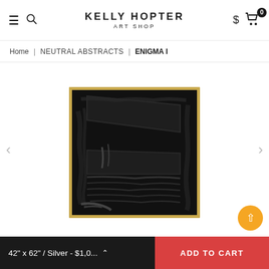KELLY HOPTER ART SHOP
Home | NEUTRAL ABSTRACTS | ENIGMA I
[Figure (photo): Abstract black textured painting in a thin gold frame showing heavy impasto brushwork creating geometric shapes on a dark canvas]
42" x 62" / Silver - $1,0...
ADD TO CART